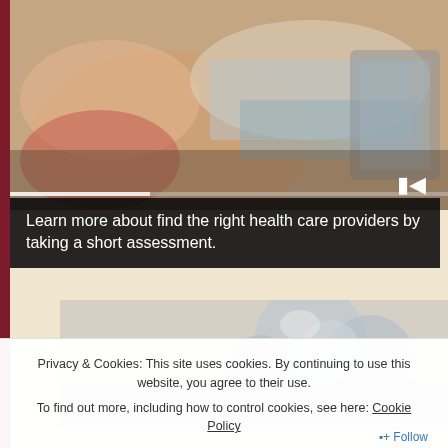[Figure (photo): Blurry close-up photo of a person lying back while someone reviews documents/tablet, medical consultation setting]
Learn more about find the right health care providers by taking a short assessment.
[Figure (photo): Blurry photo of medical vials or glass containers]
Privacy & Cookies: This site uses cookies. By continuing to use this website, you agree to their use.
To find out more, including how to control cookies, see here: Cookie Policy
Close and accept